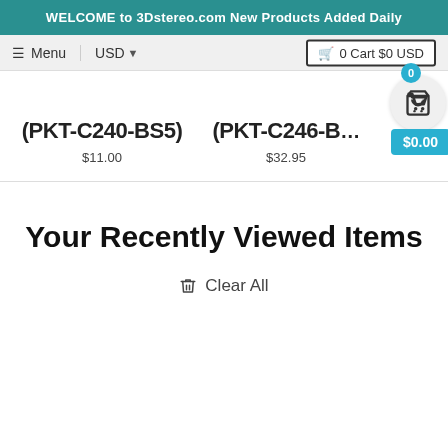WELCOME to 3Dstereo.com New Products Added Daily
≡ Menu  |  USD ▾       🛒 0 Cart $0 USD
(PKT-C240-BS5)
$11.00
(PKT-C246-B…)
$32.95
0  $0.00
Your Recently Viewed Items
🗑 Clear All